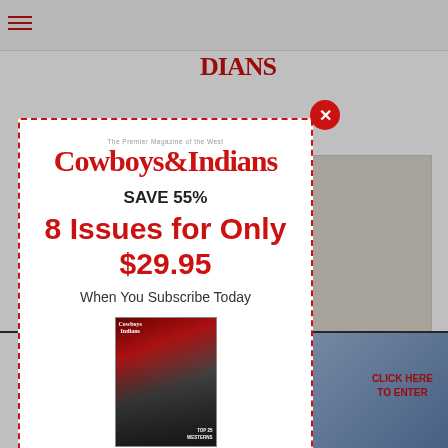[Figure (screenshot): Screenshot of Cowboys & Indians magazine website with a subscription popup modal overlay. The background shows the website header with logo and navigation. The foreground has a modal dialog with a dashed red border offering a subscription deal.]
COWBOYS & INDIANS
SAVE 55%
8 Issues for Only $29.95
When You Subscribe Today
[Figure (photo): Cowboys & Indians magazine cover showing a person in dark clothing]
SIGN UP NOW
tern movies kicks off
arring Martin Sensmeier
CLICK HERE TO ENTER
AWAY